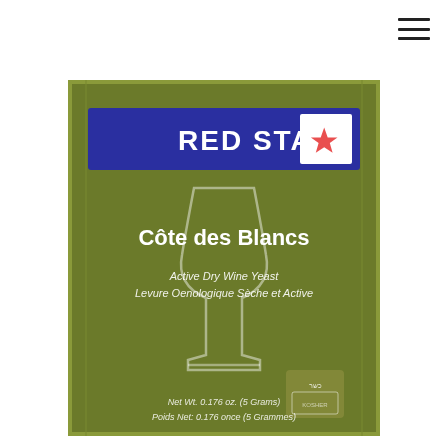[Figure (photo): Product photo of Red Star Côte des Blancs Active Dry Wine Yeast packet. Green foil packet with a blue banner at top reading RED STAR with a star logo. Below the banner is a wine glass outline. Text reads: Côte des Blancs, Active Dry Wine Yeast, Levure Oenologique Sèche et Active. Bottom text: Net Wt. 0.176 oz. (5 Grams) / Poids Net: 0.176 once (5 Grammes). A kosher certification symbol appears on the lower right.]